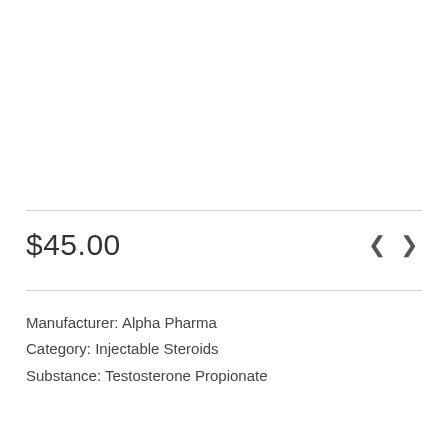[Figure (photo): Empty white product image area above a horizontal divider line]
$45.00
< >
Manufacturer: Alpha Pharma
Category: Injectable Steroids
Substance: Testosterone Propionate